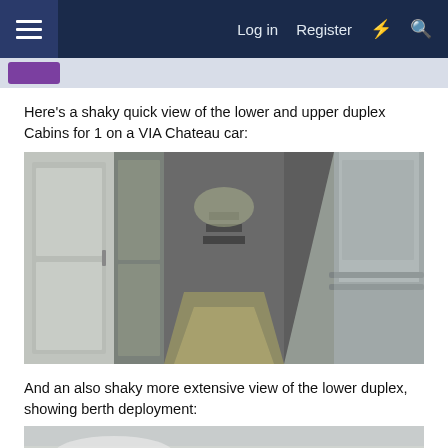Log in  Register
Here's a shaky quick view of the lower and upper duplex Cabins for 1 on a VIA Chateau car:
[Figure (photo): Interior corridor of a VIA Rail Chateau car showing the narrow hallway between duplex cabin doors on the left and windows/panels on the right, with stairs visible in the middle distance.]
And an also shaky more extensive view of the lower duplex, showing berth deployment:
[Figure (photo): Partial view of lower duplex cabin interior showing berth deployment, image is partially cut off at the bottom of the page.]